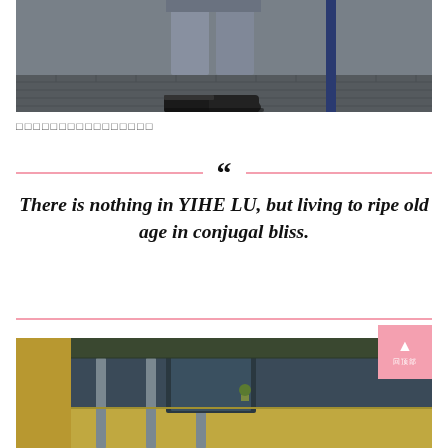[Figure (photo): Photo showing lower legs and feet of a person in grey trousers and black shoes, standing on brick pavement near a blue pole]
□□□□□□□□□□□□□□□□
“There is nothing in YIHE LU, but living to ripe old age in conjugal bliss.
[Figure (photo): Photo of a building exterior with yellow/beige lower section and dark blue-grey upper section with ivy and columns]